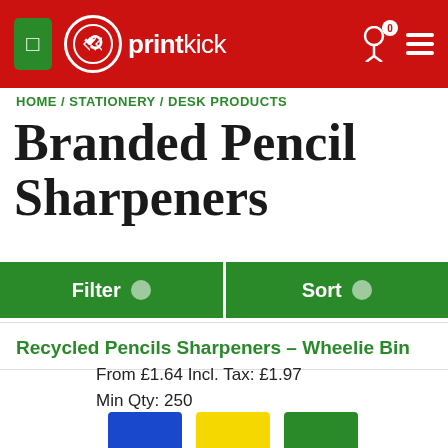[Figure (logo): PrintKick website header with red background, green box icon, circular logo with double-arrow mark, 'printkick' text in white, cart icon with 0 badge, and hamburger menu]
HOME / STATIONERY / DESK PRODUCTS
Branded Pencil Sharpeners
Filter   Sort
Recycled Pencils Sharpeners – Wheelie Bin
From £1.64 Incl. Tax: £1.97
Min Qty: 250
[Figure (illustration): Three color swatches: blue, yellow, green]